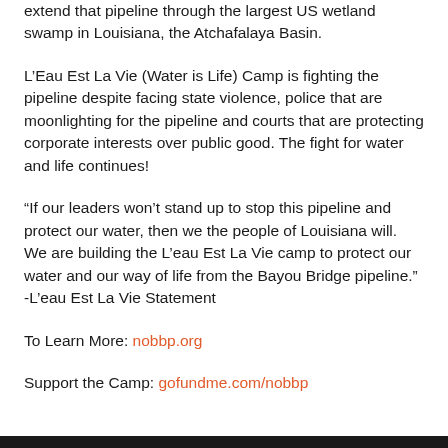extend that pipeline through the largest US wetland swamp in Louisiana, the Atchafalaya Basin.
L’Eau Est La Vie (Water is Life) Camp is fighting the pipeline despite facing state violence, police that are moonlighting for the pipeline and courts that are protecting corporate interests over public good. The fight for water and life continues!
“If our leaders won’t stand up to stop this pipeline and protect our water, then we the people of Louisiana will. We are building the L’eau Est La Vie camp to protect our water and our way of life from the Bayou Bridge pipeline.”
-L’eau Est La Vie Statement
To Learn More: nobbp.org
Support the Camp: gofundme.com/nobbp